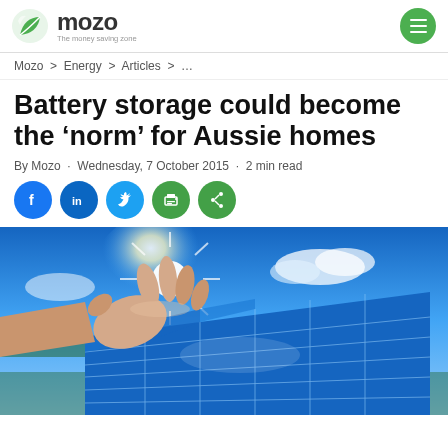mozo — The money saving zone
Mozo > Energy > Articles > ...
Battery storage could become the 'norm' for Aussie homes
By Mozo · Wednesday, 7 October 2015 · 2 min read
[Figure (illustration): Social sharing icons: Facebook, LinkedIn, Twitter, Print, Share]
[Figure (photo): A hand reaching toward a bright light (sun) above a large blue solar panel, set against a blue sky with clouds and mountains in the background]